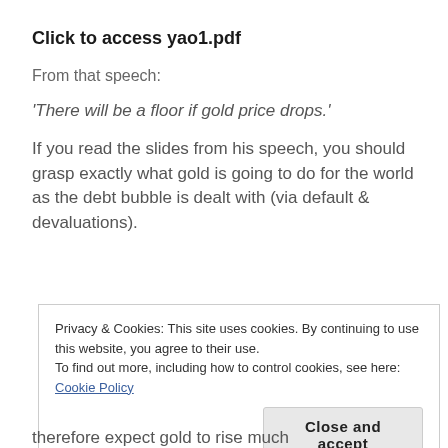Click to access yao1.pdf
From that speech:
‘There will be a floor if gold price drops.’
If you read the slides from his speech, you should grasp exactly what gold is going to do for the world as the debt bubble is dealt with (via default & devaluations).
Privacy & Cookies: This site uses cookies. By continuing to use this website, you agree to their use.
To find out more, including how to control cookies, see here: Cookie Policy
Close and accept
therefore expect gold to rise much